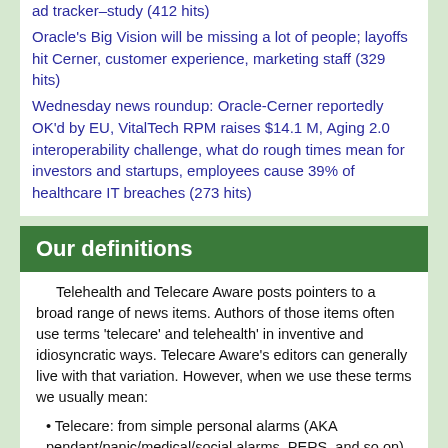ad tracker–study (412 hits)
Oracle's Big Vision will be missing a lot of people; layoffs hit Cerner, customer experience, marketing staff (329 hits)
Wednesday news roundup: Oracle-Cerner reportedly OK'd by EU, VitalTech RPM raises $14.1 M, Aging 2.0 interoperability challenge, what do rough times mean for investors and startups, employees cause 39% of healthcare IT breaches (273 hits)
Our definitions
Telehealth and Telecare Aware posts pointers to a broad range of news items. Authors of those items often use terms 'telecare' and telehealth' in inventive and idiosyncratic ways. Telecare Aware's editors can generally live with that variation. However, when we use these terms we usually mean:
Telecare: from simple personal alarms (AKA pendant/panic/medical/social alarms, PERS, and so on) through to smart homes that focus on alerts for risk including, for example: falls; smoke; changes in daily activity patterns and 'wandering'. Telecare may also be used to confirm that someone is safe and to prompt them to take medication. The alert generates an appropriate response to the situation allowing